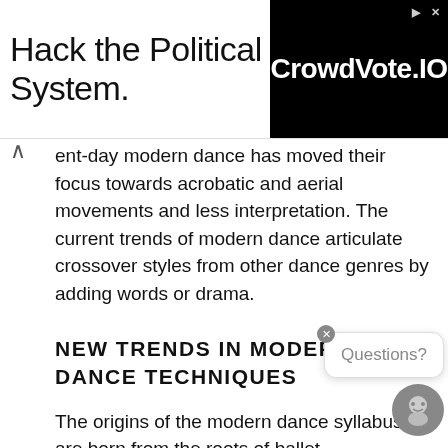[Figure (other): Advertisement banner: 'Hack the Political System.' with CrowdVote.IO logo on black background]
ent-day modern dance has moved their focus towards acrobatic and aerial movements and less interpretation. The current trends of modern dance articulate crossover styles from other dance genres by adding words or drama.
NEW TRENDS IN MODERN DANCE TECHNIQUES
The origins of the modern dance syllabus are born from the roots of ballet.
However, modern dance today incorporates moves that are infused with contemporary interpretive movements. The new trends of modern dance also focus more on actual body weight on the creation of